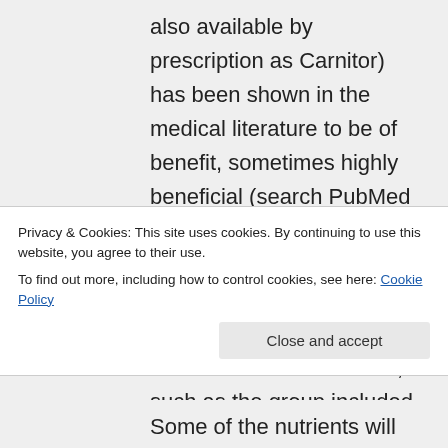also available by prescription as Carnitor) has been shown in the medical literature to be of benefit, sometimes highly beneficial (search PubMed with the terms carnitine and statin and you will also find plenty of good full length free articles). All the antioxidants and vitamins, such as the group included in the
Privacy & Cookies: This site uses cookies. By continuing to use this website, you agree to their use.
To find out more, including how to control cookies, see here: Cookie Policy
Close and accept
Some of the nutrients will